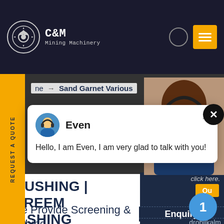C&M Mining Machinery
ne → Sand Garnet Various
[Figure (screenshot): Chat popup with avatar of 'Even', message: Hello, I am Even, I am very glad to talk with you!]
[Figure (photo): Support agent woman with headset]
CRUSHING | SCREENING WASHING
...We Provide Screening & Crushing Equipment To Serve The Quarry, Construction, Recycling, Mining, And Sand
click here.
Qu
1
Enquiry
drobilkalm@gmail.com